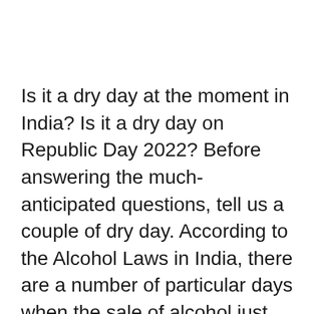Is it a dry day at the moment in India? Is it a dry day on Republic Day 2022? Before answering the much-anticipated questions, tell us a couple of dry day. According to the Alcohol Laws in India, there are a number of particular days when the sale of alcohol just isn't permitted. Some are pan-India dry days whereas others are state-specific. Republic Day is without doubt one of the three nationwide holidays, dry day is asserted throughout the nation. On Republic Day, alcohol is not going to be out there for sale in liquor outlets, pubs, bars or any eating places. You can try the complete listing of Dry Days in 2022 in India beneath. Dry Days in 2022 in India, Free PDF Download: Check Full List in New Year Calendar With Festival & Event Dates When